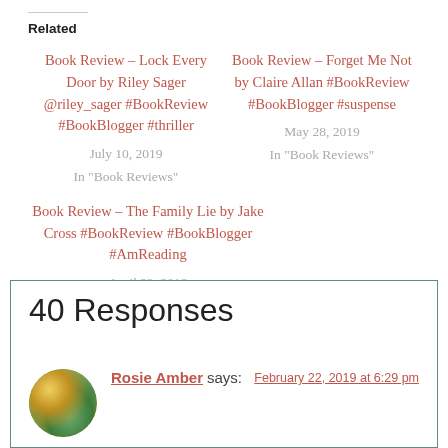Related
Book Review – Lock Every Door by Riley Sager @riley_sager #BookReview #BookBlogger #thriller
July 10, 2019
In "Book Reviews"
Book Review – Forget Me Not by Claire Allan #BookReview #BookBlogger #suspense
May 28, 2019
In "Book Reviews"
Book Review – The Family Lie by Jake Cross #BookReview #BookBlogger #AmReading
April 23, 2019
In "Book Reviews"
40 Responses
Rosie Amber says:
February 22, 2019 at 6:29 pm